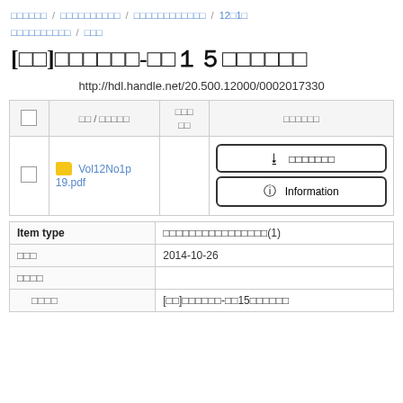□□□□□□ / □□□□□□□□□□ / □□□□□□□□□□□□ / 12□1□ □□□□□□□□□□ / □□□
[□□]□□□□□□-□□15□□□□□□
http://hdl.handle.net/20.500.12000/0002017330
|  | □□ / □□□□□ | □□□ □□ | □□□□□□ |
| --- | --- | --- | --- |
|  | Vol12No1p19.pdf |  | □□□□□□□ / Information |
| Item type | □□□□□□□□□□□□□□□□(1) |
| --- | --- |
| □□□ | 2014-10-26 |
| □□□□ |  |
| □□□□ | [□□]□□□□□□-□□15□□□□□□ |